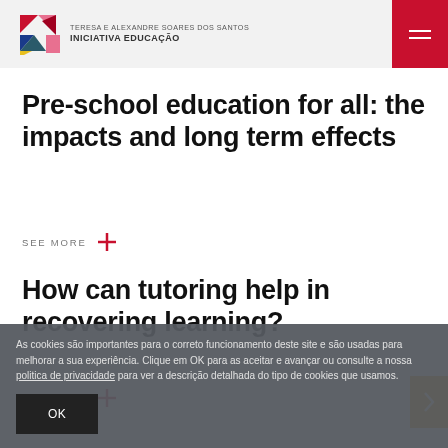TERESA E ALEXANDRE SOARES DOS SANTOS INICIATIVA EDUCAÇÃO
Pre-school education for all: the impacts and long term effects
SEE MORE
How can tutoring help in recovering learning?
SEE MORE
As cookies são importantes para o correto funcionamento deste site e são usadas para melhorar a sua experiência. Clique em OK para as aceitar e avançar ou consulte a nossa politica de privacidade para ver a descrição detalhada do tipo de cookies que usamos.
OK